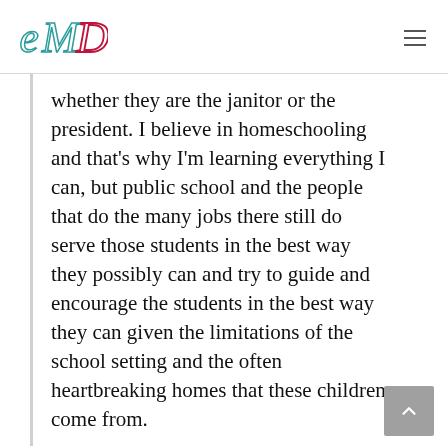eMD logo and navigation
whether they are the janitor or the president. I believe in homeschooling and that’s why I’m learning everything I can, but public school and the people that do the many jobs there still do serve those students in the best way they possibly can and try to guide and encourage the students in the best way they can given the limitations of the school setting and the often heartbreaking homes that these children come from.